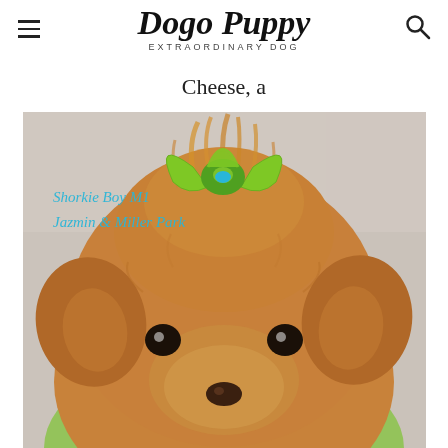Dogo Puppy EXTRAORDINARY DOG
Cheese, a
[Figure (photo): Close-up photo of a small fluffy golden-brown Shorkie puppy wearing a bright green bow on its head and a green bow around its neck. Text overlay reads: 'Shorkie Boy M1 Jazmin & Miller Park' in blue italic script.]